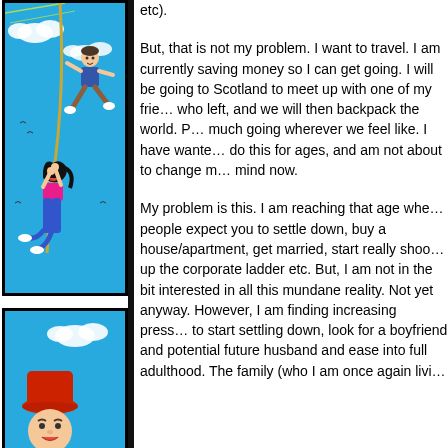[Figure (illustration): Comic-style illustration top panel: A man jumping/flying in the air and a woman swinging on a rope, both with cartoon style, blue sky background with white clouds.]
[Figure (illustration): Comic-style illustration bottom panel: Partial view of a person wearing a red hat, blue sky background.]
etc).

But, that is not my problem. I want to travel. I am currently saving money so I can get going. I will be going to Scotland to meet up with one of my friends who left, and we will then backpack the world. Pretty much going wherever we feel like. I have wanted to do this for ages, and am not about to change my mind now.

My problem is this. I am reaching that age when people expect you to settle down, buy a house/apartment, get married, start really shooting up the corporate ladder etc. But, I am not in the bit interested in all this mundane reality. Not yet anyway. However, I am finding increasing pressure to start settling down, look for a boyfriend and potential future husband and ease into full adulthood. The family (who I am once again livi